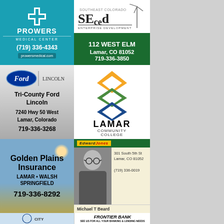[Figure (logo): Prowers Medical Center ad with teal background, cross icon, phone (719) 336-4343, prowersmedical.com]
[Figure (logo): Southeast Colorado SECED Enterprise Development ad, 112 West Elm, Lamar CO 81052, 719-336-3850]
[Figure (logo): Tri-County Ford Lincoln ad, 7240 Hwy 50 West, Lamar Colorado, 719-336-3268]
[Figure (logo): Lamar Community College logo ad with chevron arrows in yellow, green, blue]
[Figure (logo): Golden Plains Insurance ad with wheat field background, Lamar Walsh Springfield, 719-336-8292]
[Figure (photo): Edward Jones ad with photo of Michael T Beard, 301 South 5th St, Lamar CO 81052, (719) 336-0019]
[Figure (logo): Partial city ad with cowboy on horse logo]
[Figure (logo): Frontier Bank ad - See us for all your banking & lending needs]